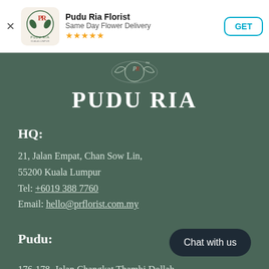[Figure (screenshot): App install banner showing Pudu Ria Florist app with logo, 'Same Day Flower Delivery' subtitle, 5-star rating, and GET button]
[Figure (logo): Pudu Ria florist logo with decorative emblem above text 'PUDU RIA' in white serif font on dark green background]
HQ:
21, Jalan Empat, Chan Sow Lin,
55200 Kuala Lumpur
Tel: +6019 388 7760
Email: hello@prflorist.com.my
Pudu:
176-178, Jalan Changkat Thambi Dollah,